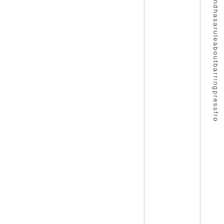ndhasaruleaboutbarringpressfro